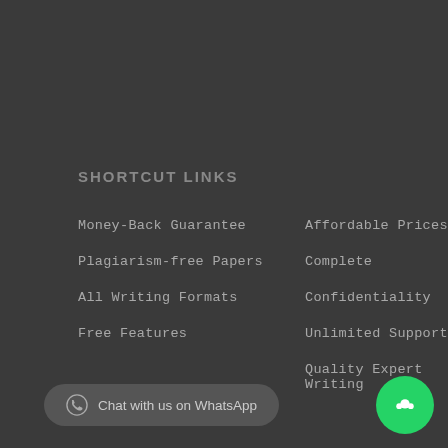SHORTCUT LINKS
Money-Back Guarantee
Plagiarism-free Papers
All Writing Formats
Free Features
Affordable Prices
Complete
Confidentiality
Unlimited Support
Quality Expert Writing
STAY CONNECTED
Submit a written request and our customer service will respond to you as quickly as possible, normally within 30 minutes.